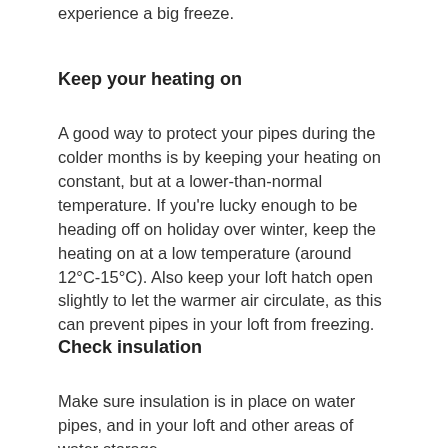experience a big freeze.
Keep your heating on
A good way to protect your pipes during the colder months is by keeping your heating on constant, but at a lower-than-normal temperature. If you're lucky enough to be heading off on holiday over winter, keep the heating on at a low temperature (around 12°C-15°C). Also keep your loft hatch open slightly to let the warmer air circulate, as this can prevent pipes in your loft from freezing.
Check insulation
Make sure insulation is in place on water pipes, and in your loft and other areas of water storage,